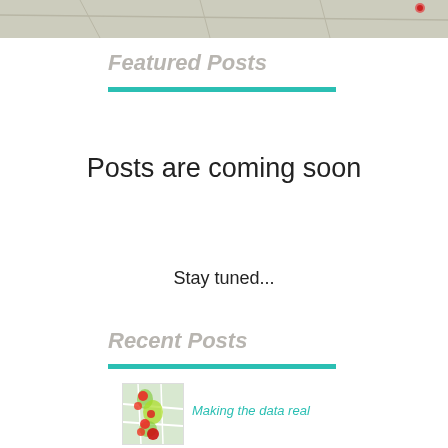[Figure (map): Partial map image at top of page, gray/green tones]
Featured Posts
Posts are coming soon
Stay tuned...
Recent Posts
[Figure (map): Small heatmap thumbnail showing red and green clusters on a street map]
Making the data real